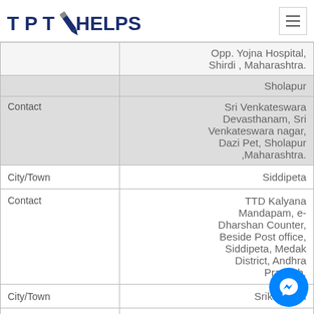TPT HELPS
| Label | Value |
| --- | --- |
|  | Opp. Yojna Hospital, Shirdi , Maharashtra. |
|  | Sholapur |
| Contact | Sri Venkateswara Devasthanam, Sri Venkateswara nagar, Dazi Pet, Sholapur ,Maharashtra. |
| City/Town | Siddipeta |
| Contact | TTD Kalyana Mandapam, e-Dharshan Counter, Beside Post office, Siddipeta, Medak District, Andhra Pradesh. |
| City/Town | Srikakulam |
| Contact | TTD Kalyanamandapam, e-Dharshan Counter, |